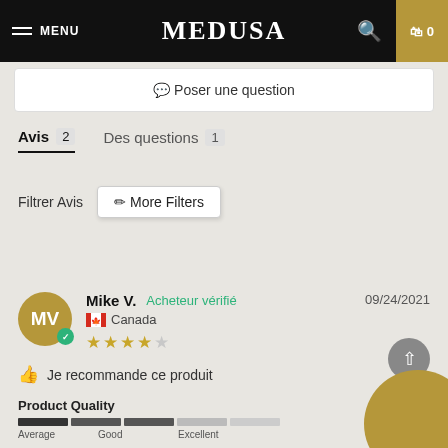MENU  MEDUSA  🔍  🛒 0
💬 Poser une question
Avis 2   Des questions 1
Filtrer Avis  ⚙ More Filters
Mike V.  Acheteur vérifié  09/24/2021
🍁 Canada
★★★★☆
👍 Je recommande ce produit
Product Quality
Average  Good  Excellent